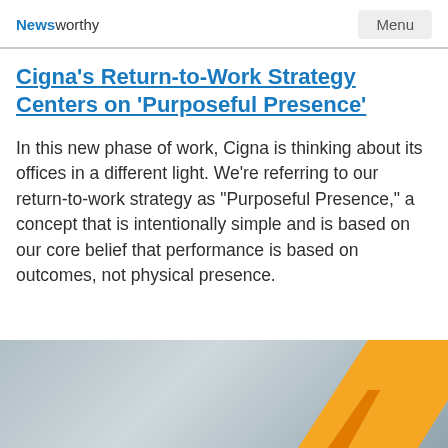Newsworthy   Menu
Cigna's Return-to-Work Strategy Centers on 'Purposeful Presence'
In this new phase of work, Cigna is thinking about its offices in a different light. We're referring to our return-to-work strategy as "Purposeful Presence," a concept that is intentionally simple and is based on our core belief that performance is based on outcomes, not physical presence.
[Figure (photo): Partial image of a grey background with an orange arrow/chevron shape visible in the lower right area, partially cropped at the page bottom.]